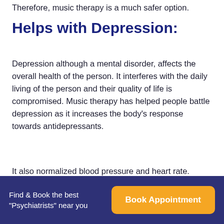Therefore, music therapy is a much safer option.
Helps with Depression:
Depression although a mental disorder, affects the overall health of the person. It interferes with the daily living of the person and their quality of life is compromised. Music therapy has helped people battle depression as it increases the body’s response towards antidepressants.
It also normalized blood pressure and heart rate. Research has shown that the combination of music
Find & Book the best "Psychiatrists" near you | Book Appointment